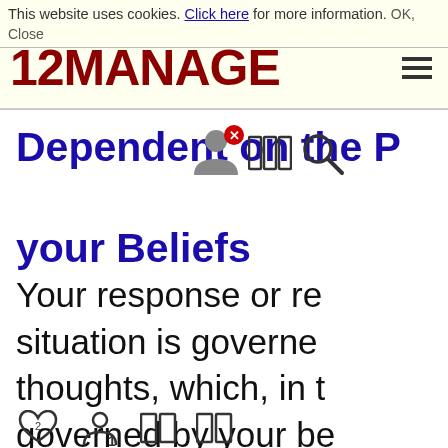This website uses cookies. Click here for more information. OK, Close
[Figure (logo): 12MANAGE logo in dark red bold text with hamburger menu icon]
Dependent on the P... your Beliefs
Your response or re... situation is governe... thoughts, which, in t... governed by your be...